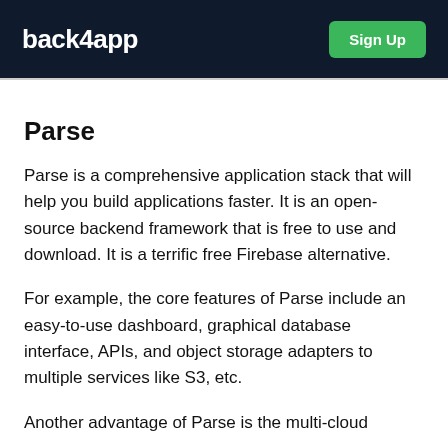back4app  Sign Up
Parse
Parse is a comprehensive application stack that will help you build applications faster. It is an open-source backend framework that is free to use and download. It is a terrific free Firebase alternative.
For example, the core features of Parse include an easy-to-use dashboard, graphical database interface, APIs, and object storage adapters to multiple services like S3, etc.
Another advantage of Parse is the multi-cloud